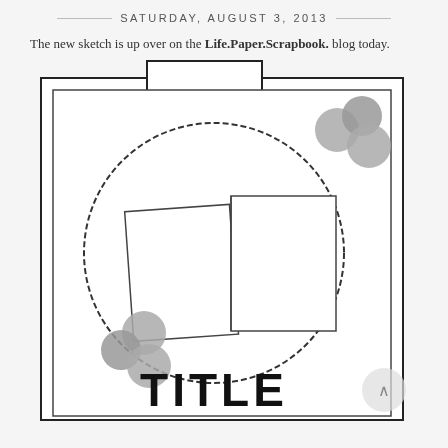SATURDAY, AUGUST 3, 2013
The new sketch is up over on the Life.Paper.Scrapbook. blog today.
[Figure (illustration): Scrapbook layout sketch showing a large outer rectangle with a tab at the top center, an inner rectangle, a large dashed circle in the center containing two overlapping photo placeholders (rectangles), three gray circles clustered in the upper right corner of the outer frame, three gray circles clustered in the lower left near the circle, and the word TITLE in large bold black text at the bottom right.]